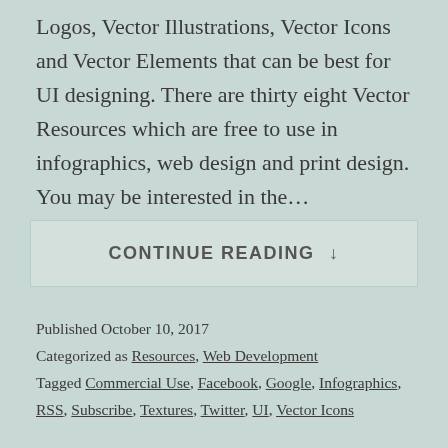Logos, Vector Illustrations, Vector Icons and Vector Elements that can be best for UI designing. There are thirty eight Vector Resources which are free to use in infographics, web design and print design. You may be interested in the…
CONTINUE READING ↓
Published October 10, 2017
Categorized as Resources, Web Development
Tagged Commercial Use, Facebook, Google, Infographics, RSS, Subscribe, Textures, Twitter, UI, Vector Icons